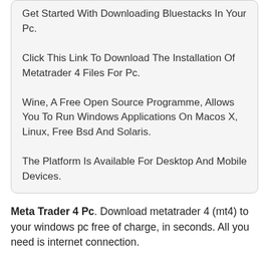Get Started With Downloading Bluestacks In Your Pc.
Click This Link To Download The Installation Of Metatrader 4 Files For Pc.
Wine, A Free Open Source Programme, Allows You To Run Windows Applications On Macos X, Linux, Free Bsd And Solaris.
The Platform Is Available For Desktop And Mobile Devices.
Meta Trader 4 Pc. Download metatrader 4 (mt4) to your windows pc free of charge, in seconds. All you need is internet connection.